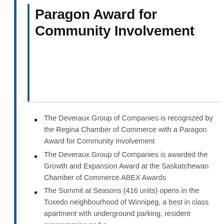Paragon Award for Community Involvement
The Deveraux Group of Companies is recognized by the Regina Chamber of Commerce with a Paragon Award for Community Involvement
The Deveraux Group of Companies is awarded the Growth and Expansion Award at the Saskatchewan Chamber of Commerce ABEX Awards
The Summit at Seasons (416 units) opens in the Tuxedo neighbourhood of Winnipeg, a best in class apartment with underground parking, resident programming and a